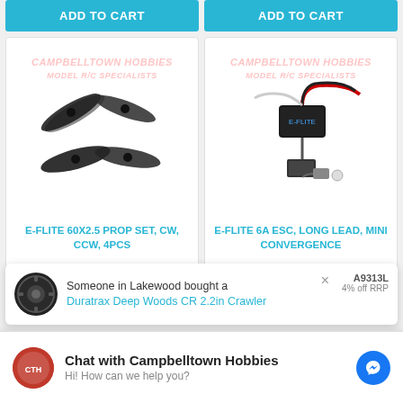[Figure (other): Two ADD TO CART buttons side by side, cyan/teal color]
[Figure (photo): Product card: E-Flite propeller set, 4 black propellers shown with Campbelltown Hobbies watermark]
E-FLITE 60X2.5 PROP SET, CW, CCW, 4PCS
[Figure (photo): Product card: E-Flite 6A ESC Long Lead Mini Convergence, electronic speed controller shown with Campbelltown Hobbies watermark]
E-FLITE 6A ESC, LONG LEAD, MINI CONVERGENCE
[Figure (other): Notification popup: Someone in Lakewood bought a Duratrax Deep Woods CR 2.2in Crawler, with tire image on left, x close button, and partial text A9313L and 4% off RRP on right]
[Figure (other): Chat bar at bottom: Campbelltown Hobbies logo, Chat with Campbelltown Hobbies title, Hi! How can we help you? subtitle, Facebook Messenger blue icon on right]